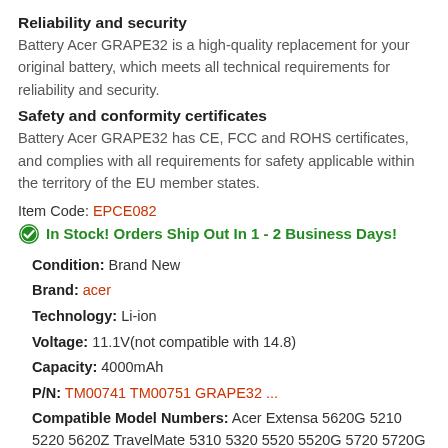Reliability and security
Battery Acer GRAPE32 is a high-quality replacement for your original battery, which meets all technical requirements for reliability and security.
Safety and conformity certificates
Battery Acer GRAPE32 has CE, FCC and ROHS certificates, and complies with all requirements for safety applicable within the territory of the EU member states.
Item Code: EPCE082
In Stock! Orders Ship Out In 1 - 2 Business Days!
Condition: Brand New
Brand: acer
Technology: Li-ion
Voltage: 11.1V(not compatible with 14.8)
Capacity: 4000mAh
P/N: TM00741 TM00751 GRAPE32 ...
Compatible Model Numbers: Acer Extensa 5620G 5210 5220 5620Z TravelMate 5310 5320 5520 5520G 5720 5720G 7520 7520G 7720 7720G...